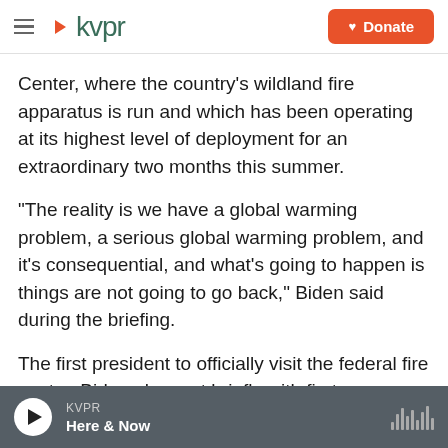KVPR | Donate
Center, where the country's wildland fire apparatus is run and which has been operating at its highest level of deployment for an extraordinary two months this summer.
"The reality is we have a global warming problem, a serious global warming problem, and it's consequential, and what's going to happen is things are not going to go back," Biden said during the briefing.
The first president to officially visit the federal fire center, Biden also met briefly with first responders
KVPR | Here & Now